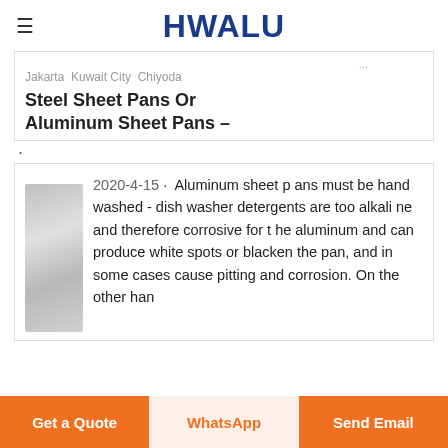HWALU
Jakarta Kuwait City Chiyoda
Steel Sheet Pans Or Aluminum Sheet Pans –
·
2020-4-15 · Aluminum sheet pans must be hand washed - dishwasher detergents are too alkaline and therefore corrosive for the aluminum and can produce white spots or blacken the pan, and in some cases cause pitting and corrosion. On the other han
Get a Quote | WhatsApp | Send Email